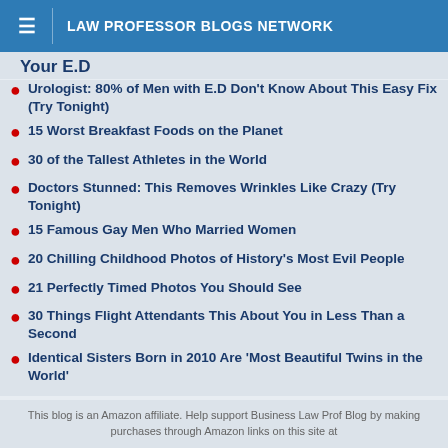LAW PROFESSOR BLOGS NETWORK
Your ED
Urologist: 80% of Men with E.D Don't Know About This Easy Fix (Try Tonight)
15 Worst Breakfast Foods on the Planet
30 of the Tallest Athletes in the World
Doctors Stunned: This Removes Wrinkles Like Crazy (Try Tonight)
15 Famous Gay Men Who Married Women
20 Chilling Childhood Photos of History's Most Evil People
21 Perfectly Timed Photos You Should See
30 Things Flight Attendants This About You in Less Than a Second
Identical Sisters Born in 2010 Are 'Most Beautiful Twins in the World'
This blog is an Amazon affiliate. Help support Business Law Prof Blog by making purchases through Amazon links on this site at